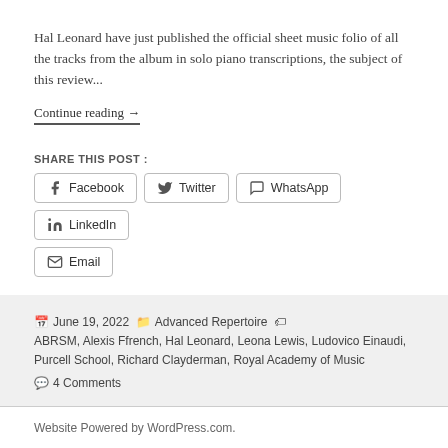Hal Leonard have just published the official sheet music folio of all the tracks from the album in solo piano transcriptions, the subject of this review...
Continue reading →
SHARE THIS POST :
Facebook
Twitter
WhatsApp
LinkedIn
Email
June 19, 2022  Advanced Repertoire  ABRSM, Alexis Ffrench, Hal Leonard, Leona Lewis, Ludovico Einaudi, Purcell School, Richard Clayderman, Royal Academy of Music  4 Comments
Website Powered by WordPress.com.